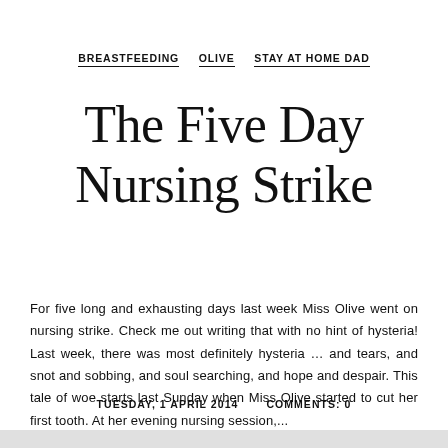BREASTFEEDING   OLIVE   STAY AT HOME DAD
The Five Day Nursing Strike
For five long and exhausting days last week Miss Olive went on nursing strike. Check me out writing that with no hint of hysteria! Last week, there was most definitely hysteria … and tears, and snot and sobbing, and soul searching, and hope and despair. This tale of woe starts last Sunday when Miss Olive started to cut her first tooth. At her evening nursing session,...
TUESDAY, 1 APRIL 2014   COMMENTS: 0